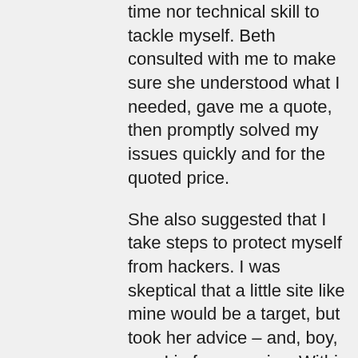time nor technical skill to tackle myself. Beth consulted with me to make sure she understood what I needed, gave me a quote, then promptly solved my issues quickly and for the quoted price.
She also suggested that I take steps to protect myself from hackers. I was skeptical that a little site like mine would be a target, but took her advice – and, boy, was I in for a suprise. Within hours of installing the security software it became clear that my site was regularly under attack – 69 attempts prevented in the first two weeks after I had the security installed! I don't know what the consequences of a hack would have been, but I am grateful that I won't have to find out.